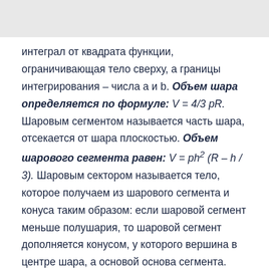интеграл от квадрата функции, ограничивающая тело сверху, а границы интегрирования – числа a и b. Объем шара определяется по формуле: V = 4/3 pR. Шаровым сегментом называется часть шара, отсекается от шара плоскостью. Объем шарового сегмента равен: V = ph² (R – h / 3). Шаровым сектором называется тело, которое получаем из шарового сегмента и конуса таким образом: если шаровой сегмент меньше полушария, то шаровой сегмент дополняется конусом, у которого вершина в центре шара, а основой основа сегмента. Если же сегмент